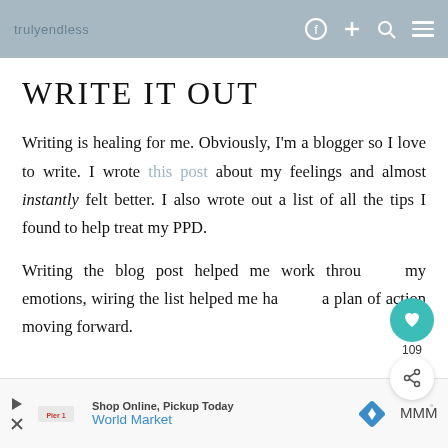trulyendless [social icons] [menu]
WRITE IT OUT
Writing is healing for me. Obviously, I'm a blogger so I love to write. I wrote this post about my feelings and almost instantly felt better. I also wrote out a list of all the tips I found to help treat my PPD.
Writing the blog post helped me work through my emotions, wiring the list helped me have a plan of action moving forward.
Shop Online, Pickup Today
World Market